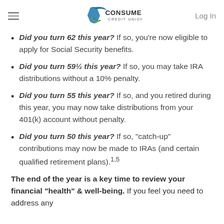Consumers Credit Union — Log In
Did you turn 62 this year? If so, you're now eligible to apply for Social Security benefits.
Did you turn 59½ this year? If so, you may take IRA distributions without a 10% penalty.
Did you turn 55 this year? If so, and you retired during this year, you may now take distributions from your 401(k) account without penalty.
Did you turn 50 this year? If so, "catch-up" contributions may now be made to IRAs (and certain qualified retirement plans).1,5
The end of the year is a key time to review your financial "health" & well-being. If you feel you need to address any